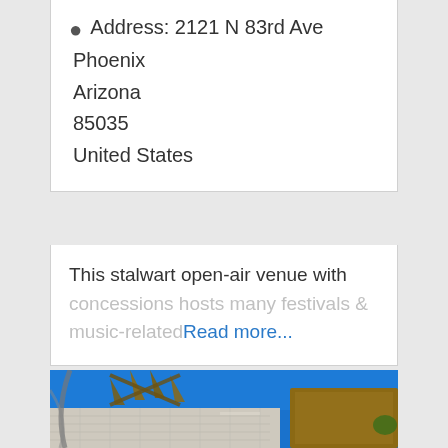Address: 2121 N 83rd Ave Phoenix Arizona 85035 United States
This stalwart open-air venue with concessions hosts many festivals & music-related Read more...
[Figure (photo): Exterior photo of an open-air venue building with brick walls and angular metal roof structures against a clear blue sky]